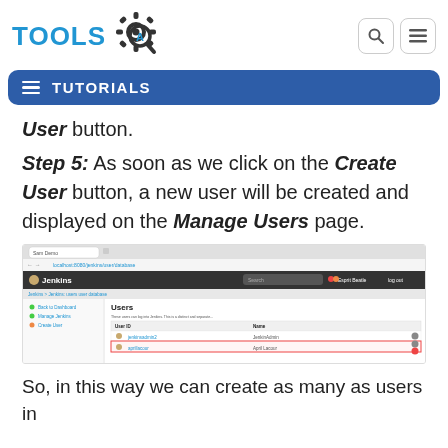TOOLS [logo with gear and magnifier]
User button.
Step 5: As soon as we click on the Create User button, a new user will be created and displayed on the Manage Users page.
[Figure (screenshot): Screenshot of Jenkins Manage Users page showing a table with User ID and Name columns, with two user entries listed, the second highlighted in a red-bordered row.]
So, in this way we can create as many as users in